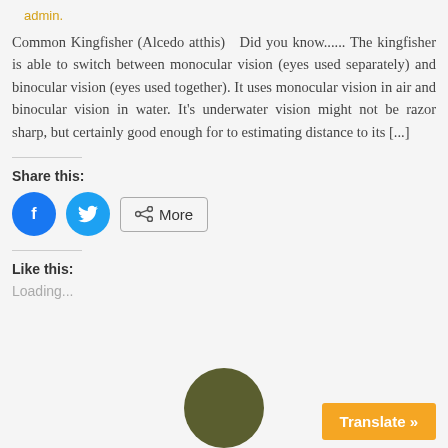admin.
Common Kingfisher (Alcedo atthis)   Did you know......  The kingfisher is able to switch between monocular vision (eyes used separately) and binocular vision (eyes used together). It uses monocular vision in air and binocular vision in water. It's underwater vision might not be razor sharp, but certainly good enough for to estimating distance to its [...]
Share this:
[Figure (other): Facebook share button (blue circle with f icon), Twitter share button (blue circle with bird icon), and More button with share icon]
Like this:
Loading...
[Figure (other): Olive/dark green circle representing a person avatar at the bottom center]
Translate »